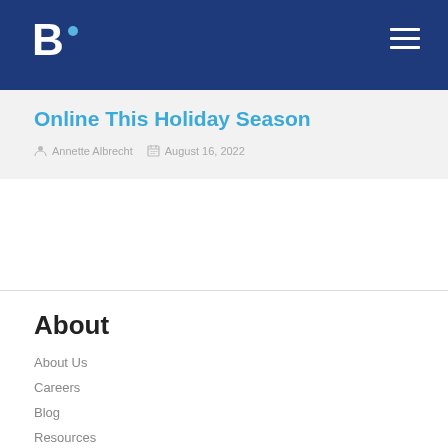B. [logo with dot] — navigation header with hamburger menu
Online This Holiday Season
Annette Albrecht   August 16, 2022
About
About Us
Careers
Blog
Resources